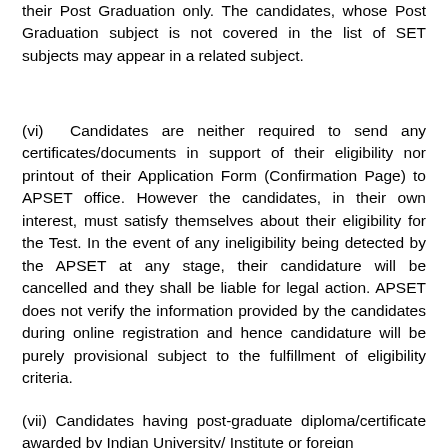their Post Graduation only. The candidates, whose Post Graduation subject is not covered in the list of SET subjects may appear in a related subject.
(vi) Candidates are neither required to send any certificates/documents in support of their eligibility nor printout of their Application Form (Confirmation Page) to APSET office. However the candidates, in their own interest, must satisfy themselves about their eligibility for the Test. In the event of any ineligibility being detected by the APSET at any stage, their candidature will be cancelled and they shall be liable for legal action. APSET does not verify the information provided by the candidates during online registration and hence candidature will be purely provisional subject to the fulfillment of eligibility criteria.
(vii) Candidates having post-graduate diploma/certificate awarded by Indian University/ Institute or foreign